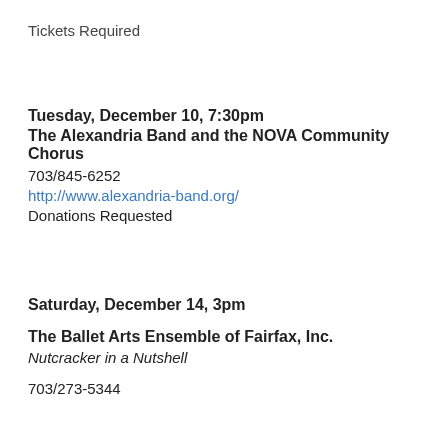Tickets Required
Tuesday, December 10, 7:30pm
The Alexandria Band and the NOVA Community Chorus
703/845-6252
http://www.alexandria-band.org/
Donations Requested
Saturday, December 14, 3pm
The Ballet Arts Ensemble of Fairfax, Inc.
Nutcracker in a Nutshell
703/273-5344